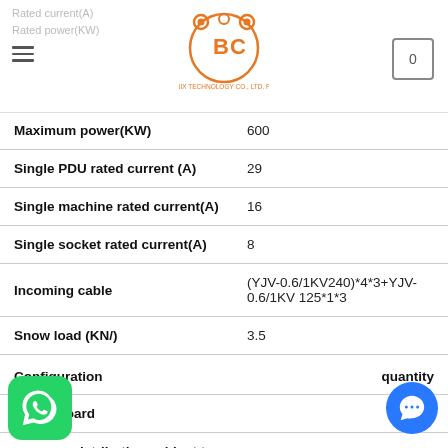Rated current(A) | Rated power(KW)
| Configuration | quantity |
| --- | --- |
| Maximum power(KW) | 600 |
| Single PDU rated current (A) | 29 |
| Single machine rated current(A) | 16 |
| Single socket rated current(A) | 8 |
| Incoming cable | (YJV-0.6/1KV240)*4*3+YJV-0.6/1KV 125*1*3 |
| Snow load (KN/) | 3.5 |
| Configuration | quantity |
| Switchboard | 3 |
| Distribution cabinet to PDU cable | 27 |
| PDU | 27 |